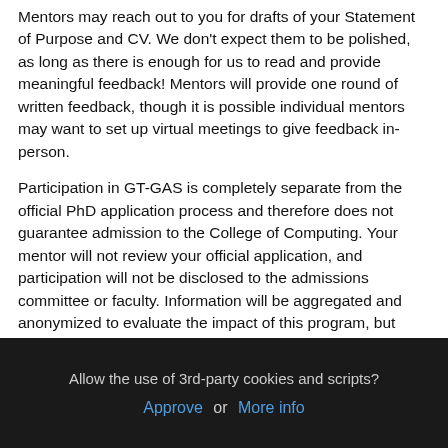Mentors may reach out to you for drafts of your Statement of Purpose and CV. We don't expect them to be polished, as long as there is enough for us to read and provide meaningful feedback! Mentors will provide one round of written feedback, though it is possible individual mentors may want to set up virtual meetings to give feedback in-person.
Participation in GT-GAS is completely separate from the official PhD application process and therefore does not guarantee admission to the College of Computing. Your mentor will not review your official application, and participation will not be disclosed to the admissions committee or faculty. Information will be aggregated and anonymized to evaluate the impact of this program, but
Allow the use of 3rd-party cookies and scripts?
Approve or More info